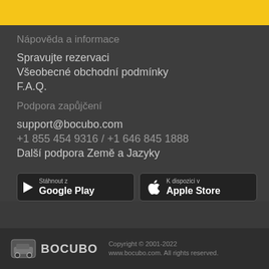Nápověda a informace
Spravujte rezervaci
Všeobecné obchodní podmínky
F.A.Q.
Podpora zapůjčení
support@bocubo.com
+1 855 454 9316 / +1 646 845 1888
Další podpora Země a Jazyky
[Figure (screenshot): Google Play and Apple Store app download buttons]
BOCUBO  Copyright © 2001-2022 www.bocubo.com. All rights reserved.